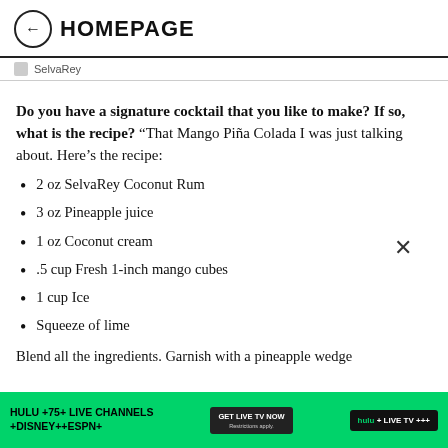HOMEPAGE
SelvaRey
Do you have a signature cocktail that you like to make? If so, what is the recipe? “That Mango Piña Colada I was just talking about. Here’s the recipe:
2 oz SelvaRey Coconut Rum
3 oz Pineapple juice
1 oz Coconut cream
.5 cup Fresh 1-inch mango cubes
1 cup Ice
Squeeze of lime
Blend all the ingredients. Garnish with a pineapple wedge
[Figure (infographic): Hulu advertisement banner: HULU +75+ LIVE CHANNELS +DISNEY++ESPN+ with GET LIVE TV NOW button and hulu + LIVE TV +++ button on green background]